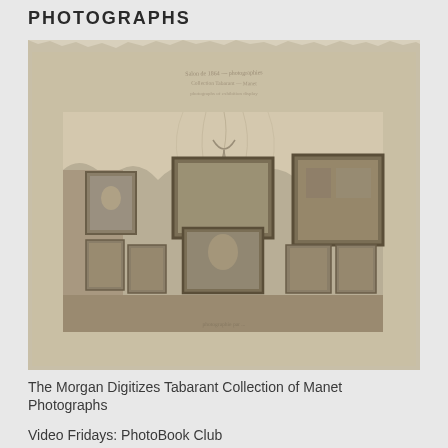PHOTOGRAPHS
[Figure (photo): Historical photograph mounted on card stock showing a display of framed paintings/photographs arranged on a draped wall. The photograph shows multiple framed works of art hung on fabric-draped walls. The mount has a torn/ragged top edge and appears aged and yellowed. Handwritten text appears at the top of the mount.]
The Morgan Digitizes Tabarant Collection of Manet Photographs
Video Fridays: PhotoBook Club
Picturing California in a New Photobook & Exhibition